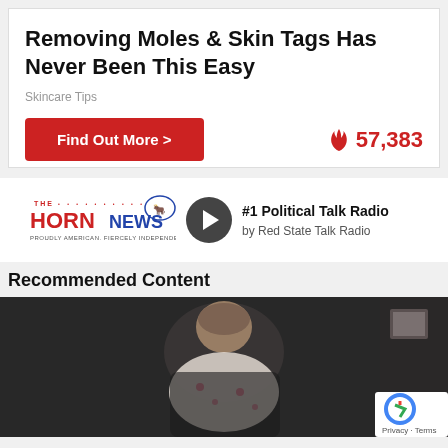Removing Moles & Skin Tags Has Never Been This Easy
Skincare Tips
Find Out More >
57,383
[Figure (logo): The Horn News logo with bull icon and tagline 'Proudly American. Fiercely Independent.' with play button]
#1 Political Talk Radio
by Red State Talk Radio
Recommended Content
[Figure (photo): Dark photo of a person with head bowed, wearing white clothing with floral pattern, seated at a dark surface]